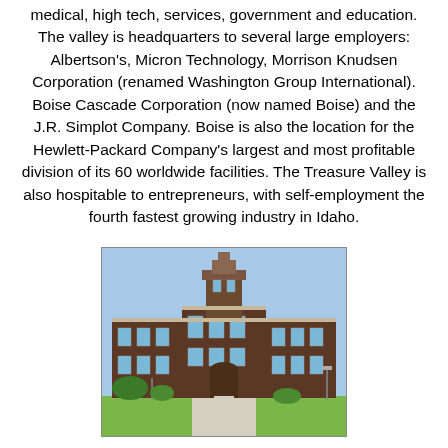medical, high tech, services, government and education. The valley is headquarters to several large employers: Albertson's, Micron Technology, Morrison Knudsen Corporation (renamed Washington Group International). Boise Cascade Corporation (now named Boise) and the J.R. Simplot Company. Boise is also the location for the Hewlett-Packard Company's largest and most profitable division of its 60 worldwide facilities. The Treasure Valley is also hospitable to entrepreneurs, with self-employment the fourth fastest growing industry in Idaho.
[Figure (photo): Photo of a large brick institutional building (likely a school or government building) with art deco architectural elements, a central tower, multiple windows, green lawn in the foreground, and a sidewalk and lamp posts visible.]